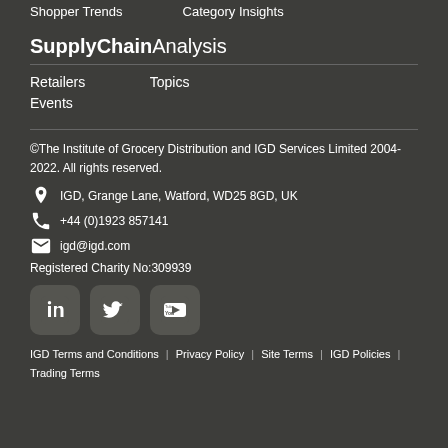Shopper Trends   Category Insights
SupplyChainAnalysis
Retailers
Topics
Events
©The Institute of Grocery Distribution and IGD Services Limited 2004-2022. All rights reserved.
IGD, Grange Lane, Watford, WD25 8GD, UK
+44 (0)1923 857141
igd@igd.com
Registered Charity No:309939
[Figure (logo): LinkedIn, Twitter, YouTube social media icons]
IGD Terms and Conditions | Privacy Policy | Site Terms | IGD Policies | Trading Terms